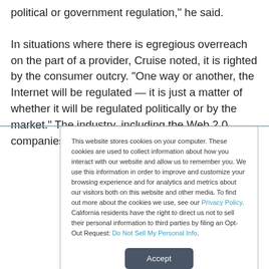political or government regulation," he said.

In situations where there is egregious overreach on the part of a provider, Cruise noted, it is righted by the consumer outcry. "One way or another, the Internet will be regulated — it is just a matter of whether it will be regulated politically or by the market." The industry, including the Web 2.0 companies that
This website stores cookies on your computer. These cookies are used to collect information about how you interact with our website and allow us to remember you. We use this information in order to improve and customize your browsing experience and for analytics and metrics about our visitors both on this website and other media. To find out more about the cookies we use, see our Privacy Policy. California residents have the right to direct us not to sell their personal information to third parties by filing an Opt-Out Request: Do Not Sell My Personal Info.